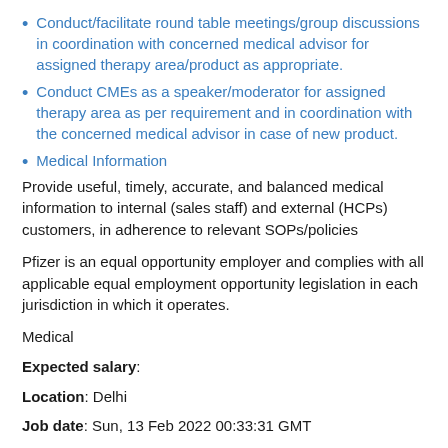Conduct/facilitate round table meetings/group discussions in coordination with concerned medical advisor for assigned therapy area/product as appropriate.
Conduct CMEs as a speaker/moderator for assigned therapy area as per requirement and in coordination with the concerned medical advisor in case of new product.
Medical Information
Provide useful, timely, accurate, and balanced medical information to internal (sales staff) and external (HCPs) customers, in adherence to relevant SOPs/policies
Pfizer is an equal opportunity employer and complies with all applicable equal employment opportunity legislation in each jurisdiction in which it operates.
Medical
Expected salary:
Location: Delhi
Job date: Sun, 13 Feb 2022 00:33:31 GMT